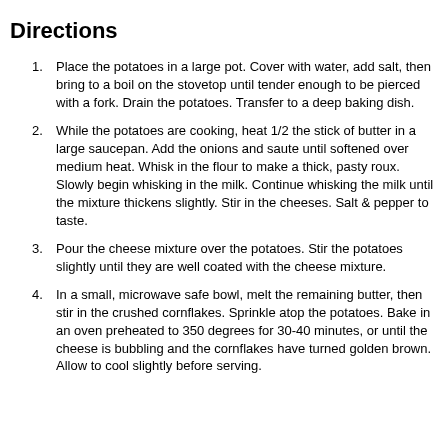Directions
Place the potatoes in a large pot.  Cover with water, add salt, then bring to a boil on the stovetop until tender enough to be pierced with a fork.  Drain the potatoes.  Transfer to a deep baking dish.
While the potatoes are cooking, heat 1/2 the stick of butter in a large saucepan.  Add the onions and saute until softened over medium heat.  Whisk in the flour to make a thick, pasty roux.  Slowly begin whisking in the milk.  Continue whisking the milk until the mixture thickens slightly.  Stir in the cheeses.  Salt & pepper to taste.
Pour the cheese mixture over the potatoes.  Stir the potatoes slightly until they are well coated with the cheese mixture.
In a small, microwave safe bowl, melt the remaining butter, then stir in the crushed cornflakes.  Sprinkle atop the potatoes.  Bake in an oven preheated to 350 degrees for 30-40 minutes, or until the cheese is bubbling and the cornflakes have turned golden brown.  Allow to cool slightly before serving.